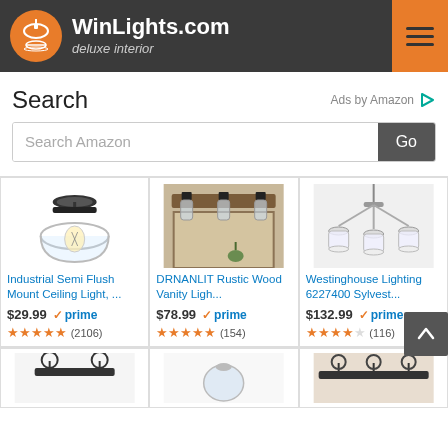WinLights.com deluxe interior
Search
Ads by Amazon
Search Amazon
[Figure (photo): Industrial Semi Flush Mount Ceiling Light with clear glass dome and Edison bulb]
Industrial Semi Flush Mount Ceiling Light, ...
$29.99 ✓prime ★★★★★ (2106)
[Figure (photo): DRNANLIT Rustic Wood Vanity Light with three cylindrical glass shades on wood bar]
DRNANLIT Rustic Wood Vanity Ligh...
$78.99 ✓prime ★★★★★ (154)
[Figure (photo): Westinghouse Lighting 6227400 Sylvest chandelier with frosted glass shades]
Westinghouse Lighting 6227400 Sylvest...
$132.99 ✓prime ★★★★☆ (116)
[Figure (photo): Bottom row partially visible product images]
[Figure (photo): Bottom row partially visible product image 2]
[Figure (photo): Bottom row partially visible product image 3]